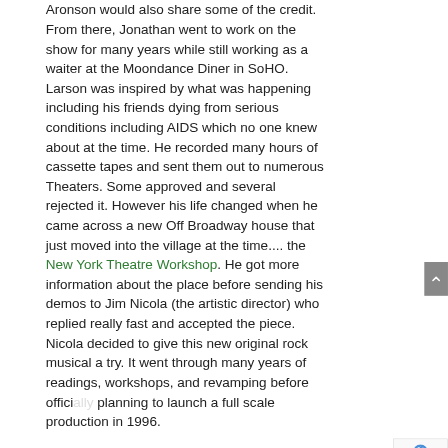Aronson would also share some of the credit. From there, Jonathan went to work on the show for many years while still working as a waiter at the Moondance Diner in SoHO. Larson was inspired by what was happening including his friends dying from serious conditions including AIDS which no one knew about at the time. He recorded many hours of cassette tapes and sent them out to numerous Theaters. Some approved and several rejected it. However his life changed when he came across a new Off Broadway house that just moved into the village at the time.... the New York Theatre Workshop. He got more information about the place before sending his demos to Jim Nicola (the artistic director) who replied really fast and accepted the piece. Nicola decided to give this new original rock musical a try. It went through many years of readings, workshops, and revamping before officially planning to launch a full scale production in 1996.